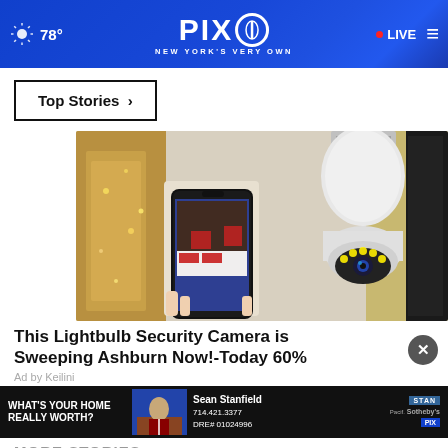78° PIX11 NEW YORK'S VERY OWN LIVE
Top Stories ›
[Figure (photo): Advertisement photo of a smart lightbulb security camera next to a hand holding a smartphone displaying a room view]
This Lightbulb Security Camera is Sweeping Ashburn Now!-Today 60%
Ad by Keilini
[Figure (photo): Banner advertisement: WHAT'S YOUR HOME REALLY WORTH? featuring Sean Stanfield, 714.421.3377 DRE# 01024996, with Sotheby's logo]
MORE STORIES ›